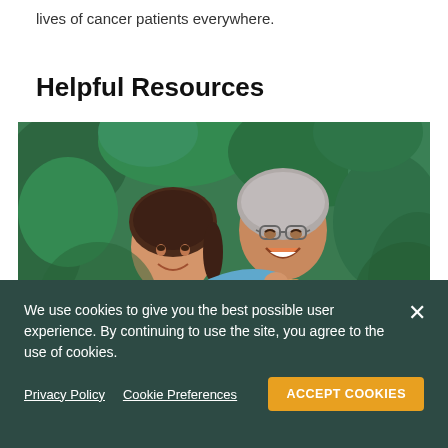lives of cancer patients everywhere.
Helpful Resources
[Figure (photo): Two women outdoors smiling at each other in front of green trees. One woman with dark hair in a blue polo shirt has her arm around an older woman with short gray hair wearing glasses, a bead necklace, and a striped shirt.]
We use cookies to give you the best possible user experience. By continuing to use the site, you agree to the use of cookies.
Privacy Policy   Cookie Preferences   ACCEPT COOKIES